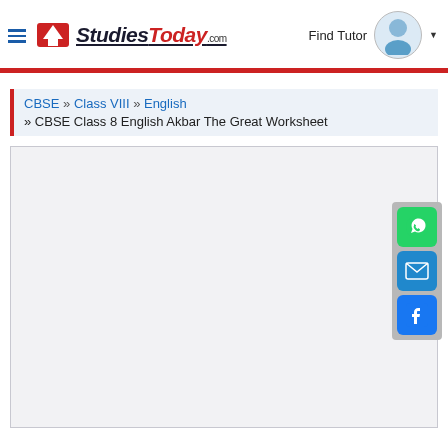StudiesToday.com — Find Tutor
CBSE » Class VIII » English » CBSE Class 8 English Akbar The Great Worksheet
[Figure (screenshot): Empty content/ad area placeholder box with social share buttons (WhatsApp, Email, Facebook) on the right side]